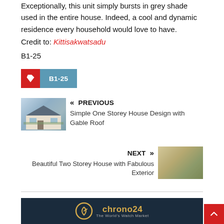Exceptionally, this unit simply bursts in grey shade used in the entire house. Indeed, a cool and dynamic residence every household would love to have.
Credit to: Kittisakwatsadu
B1-25
[Figure (other): Tag icon (red square with bookmark/tag shape) followed by a steel-blue label reading B1-25]
[Figure (photo): Thumbnail of a simple one storey house with gable roof]
« PREVIOUS
Simple One Storey House Design with Gable Roof
NEXT »
Beautiful Two Storey House with Fabulous Exterior
[Figure (photo): Thumbnail of a beautiful two storey house with fabulous exterior]
[Figure (other): Chrono24 advertisement banner — dark navy background with gold 'chrono24' logo and tagline 'The World's Watch Market']